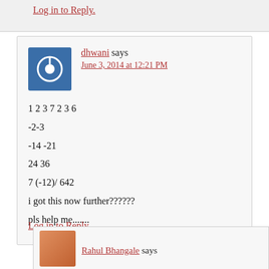Log in to Reply.
dhwani says
June 3, 2014 at 12:21 PM
1 2 3 7 2 3 6
-2-3
-14 -21
24 36
7 (-12)/ 642
i got this now further??????
pls help me.......
Log in to Reply
Rahul Bhangale says